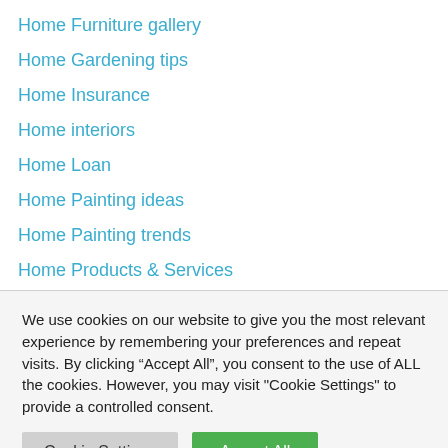Home Furniture gallery
Home Gardening tips
Home Insurance
Home interiors
Home Loan
Home Painting ideas
Home Painting trends
Home Products & Services
We use cookies on our website to give you the most relevant experience by remembering your preferences and repeat visits. By clicking “Accept All”, you consent to the use of ALL the cookies. However, you may visit "Cookie Settings" to provide a controlled consent.